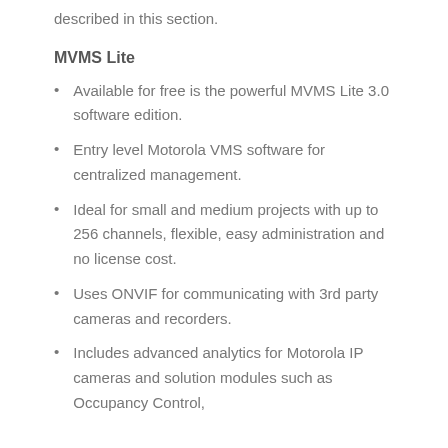described in this section.
MVMS Lite
Available for free is the powerful MVMS Lite 3.0 software edition.
Entry level Motorola VMS software for centralized management.
Ideal for small and medium projects with up to 256 channels, flexible, easy administration and no license cost.
Uses ONVIF for communicating with 3rd party cameras and recorders.
Includes advanced analytics for Motorola IP cameras and solution modules such as Occupancy Control,